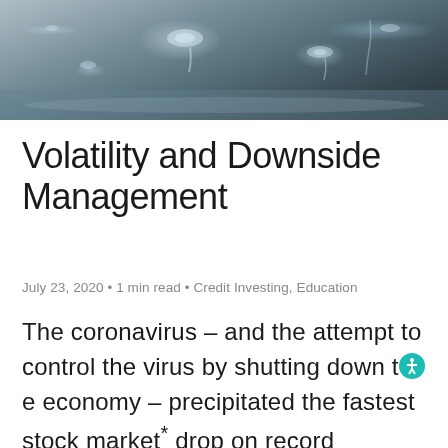[Figure (photo): Close-up photograph of water droplets on a dark surface, black and white/desaturated tones]
Volatility and Downside Management
July 23, 2020 • 1 min read • Credit Investing, Education
The coronavirus – and the attempt to control the virus by shutting down the economy – precipitated the fastest stock market* drop on record